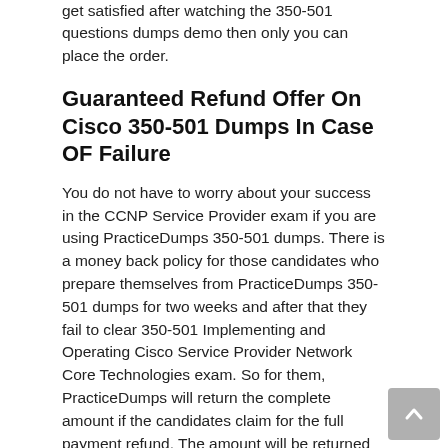get satisfied after watching the 350-501 questions dumps demo then only you can place the order.
Guaranteed Refund Offer On Cisco 350-501 Dumps In Case OF Failure
You do not have to worry about your success in the CCNP Service Provider exam if you are using PracticeDumps 350-501 dumps. There is a money back policy for those candidates who prepare themselves from PracticeDumps 350-501 dumps for two weeks and after that they fail to clear 350-501 Implementing and Operating Cisco Service Provider Network Core Technologies exam. So for them, PracticeDumps will return the complete amount if the candidates claim for the full payment refund. The amount will be returned back within 7 days as per the policy of PracticeDumps.